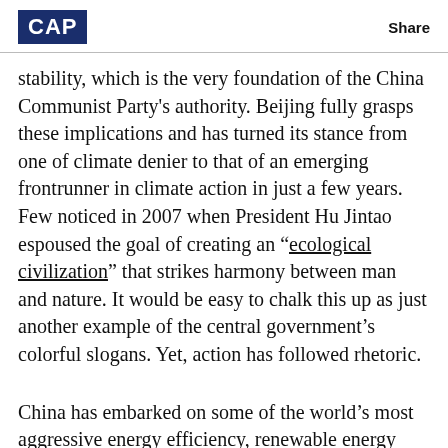CAP   Share
stability, which is the very foundation of the China Communist Party's authority. Beijing fully grasps these implications and has turned its stance from one of climate denier to that of an emerging frontrunner in climate action in just a few years. Few noticed in 2007 when President Hu Jintao espoused the goal of creating an “ecological civilization” that strikes harmony between man and nature. It would be easy to chalk this up as just another example of the central government’s colorful slogans. Yet, action has followed rhetoric.
China has embarked on some of the world’s most aggressive energy efficiency, renewable energy development and reforestation programs through its landmark National Climate Change Program of 2007. Over the five-year period ending 2010, it plans to